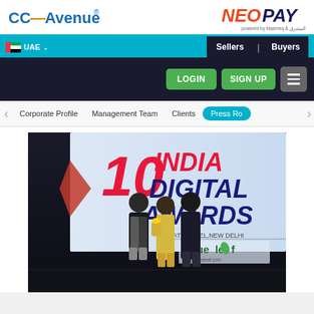CC-Avenue® | NEO PAY - UAE | Sellers | Buyers
[Figure (logo): CC-Avenue blue logo on left, NEO PAY red and dark blue logo on right]
[Figure (screenshot): Navigation bar with UAE flag, UAE dropdown, Sellers/Buyers buttons in dark background]
[Figure (screenshot): Dark banner with LOGIN and SIGN UP green buttons and hamburger menu]
Corporate Profile | Management Team | Clients | Press Ro
[Figure (photo): Three people standing on stage at the 10 India Digital Awards event at Hyatt Hotel New Delhi, with valueleaf logo visible on backdrop. Person in center holding a trophy/award.]